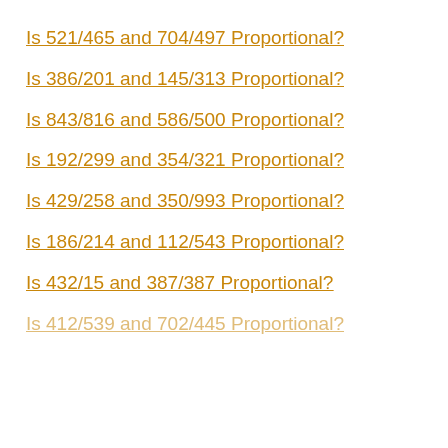Is 521/465 and 704/497 Proportional?
Is 386/201 and 145/313 Proportional?
Is 843/816 and 586/500 Proportional?
Is 192/299 and 354/321 Proportional?
Is 429/258 and 350/993 Proportional?
Is 186/214 and 112/543 Proportional?
Is 432/15 and 387/387 Proportional?
Is 412/539 and 702/445 Proportional?